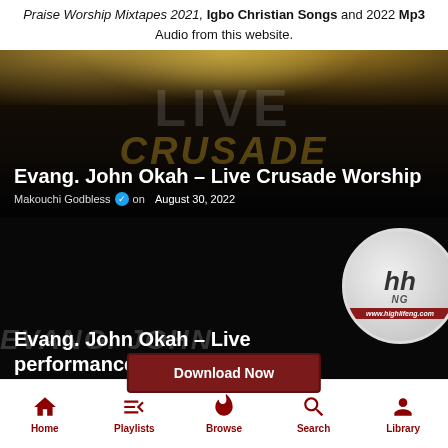Praise Worship Mixtapes 2021, Igbo Christian Songs and 2022 Mp3 Audio from this website.
[Figure (screenshot): Evang. John Okah – Live Crusade Worship card with dark concert background with stage lights, watermark text LIVE CRUSADE, posted by Makouchi Godbless on August 30, 2022]
[Figure (screenshot): Evang. John Okah – Live performance (Vol 2) card with black background, highlife.ng logo circle, Download Now button, watermark text EVANG JOHN, posted by Makouchi Godbless]
[Figure (screenshot): Bottom navigation bar with Home, Playlists, Browse, Search, Library icons in dark red]